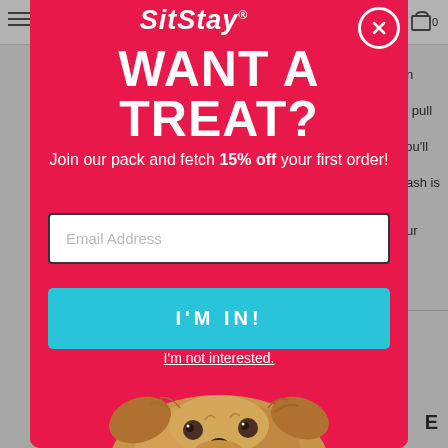[Figure (screenshot): SitStay website popup modal with pink background. Contains logo 'SitStay', heading 'WANT A TREAT?', subtext about 15% off, email input field, cyan 'I'M IN!' button, 'I'm not interested.' link, and a photo of a cute scruffy dog looking up at the camera.]
WANT A TREAT?
Join our pack and fetch 15% off your first order!
Email Address
I'M IN!
I'm not interested.